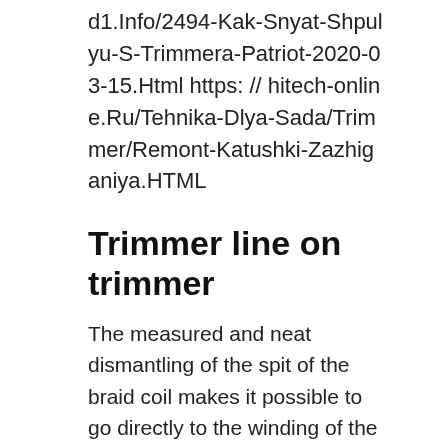d1.Info/2494-Kak-Snyat-Shpulyu-S-Trimmera-Patriot-2020-03-15.Html https: // hitech-online.Ru/Tehnika-Dlya-Sada/Trimmer/Remont-Katushki-Zazhiganiya.HTML
Trimmer line on trimmer
The measured and neat dismantling of the spit of the braid coil makes it possible to go directly to the winding of the trimmer line. Design features of the head, the number and location of the fixing holes dictate the sequence of actions when performing this operation, and also determine the methods used. Today, there are several varieties of coils depending on the